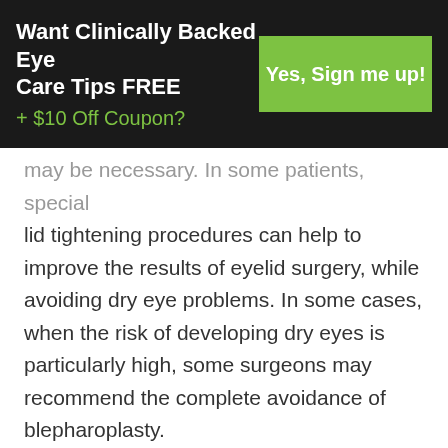[Figure (infographic): Dark banner with text 'Want Clinically Backed Eye Care Tips FREE + $10 Off Coupon?' on the left and a green button 'Yes, Sign me up!' on the right]
may be necessary. In some patients, special lid tightening procedures can help to improve the results of eyelid surgery, while avoiding dry eye problems. In some cases, when the risk of developing dry eyes is particularly high, some surgeons may recommend the complete avoidance of blepharoplasty.
Serious Complications
If the lower eyelid is affected by too much skin removal during blepharoplasty and the resulting problem is an inability to